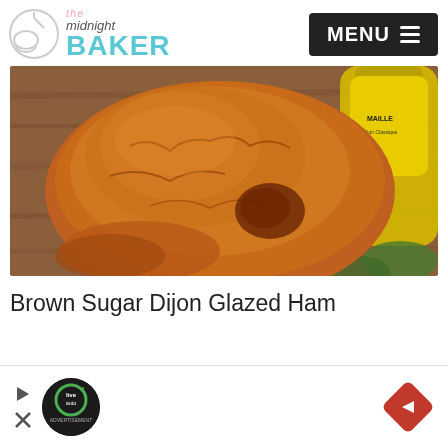The Midnight Baker — MENU
[Figure (photo): Close-up photo of a Brown Sugar Dijon Glazed Ham on a wooden cutting board, with a bottle of Maille Dijon mustard visible in the background.]
Brown Sugar Dijon Glazed Ham
[Figure (infographic): Advertisement banner with live auto logo circle, play and close buttons, and a navigation arrow diamond icon.]